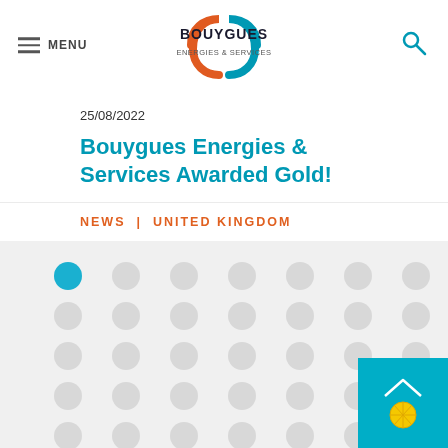MENU | Bouygues Energies & Services logo | Search icon
25/08/2022
Bouygues Energies & Services Awarded Gold!
NEWS | UNITED KINGDOM
[Figure (illustration): Decorative dot grid pattern with one blue dot and many gray dots, and a teal box with a lemon/citrus icon in the bottom right corner]